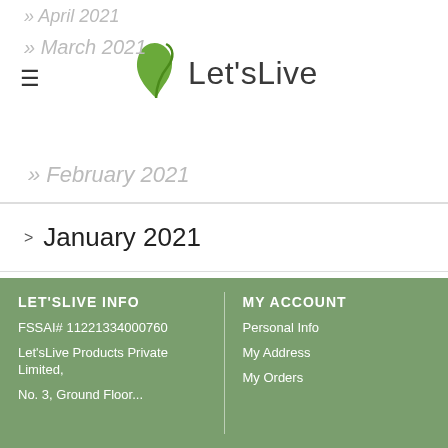Let'sLive
April 2021
March 2021
February 2021
January 2021
December 2020
LET'SLIVE INFO | FSSAI# 11221334000760 | Let'sLive Products Private Limited, | MY ACCOUNT | Personal Info | My Address | My Orders